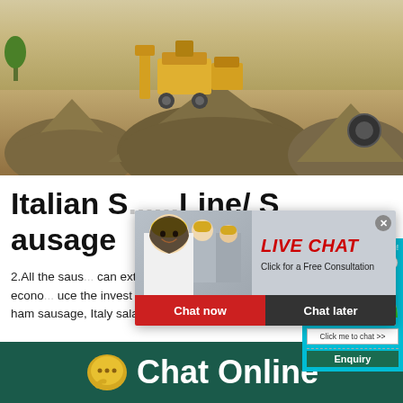[Figure (photo): Outdoor quarry/gravel crushing site with large piles of aggregate material, yellow heavy machinery in background]
Italian S... Line/ S... ausage ...
2.All the saus... can extend se... pacity is small ,we will recommend the econo... uce the invest . 4.Differ machine models and ... r sausage,such as ham sausage, Italy salami, C... ain Chorizo, Frankfurt sausage, etc.
[Figure (screenshot): Live Chat popup overlay with photo of workers in yellow helmets, LIVE CHAT text in red italic, Click for a Free Consultation subtitle, Chat now (red) and Chat later (dark) buttons]
[Figure (infographic): Customer satisfaction meter widget on teal background with emoji faces and gauge, Click me to chat >> button, and Enquiry label at bottom]
Chat Online